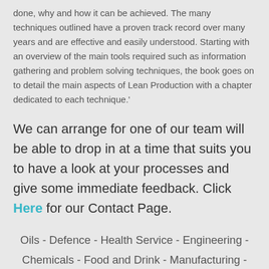done, why and how it can be achieved. The many techniques outlined have a proven track record over many years and are effective and easily understood. Starting with an overview of the main tools required such as information gathering and problem solving techniques, the book goes on to detail the main aspects of Lean Production with a chapter dedicated to each technique.'
We can arrange for one of our team will be able to drop in at a time that suits you to have a look at your processes and give some immediate feedback. Click Here for our Contact Page.
Oils - Defence - Health Service - Engineering - Chemicals - Food and Drink - Manufacturing - Business Improvements - Casting